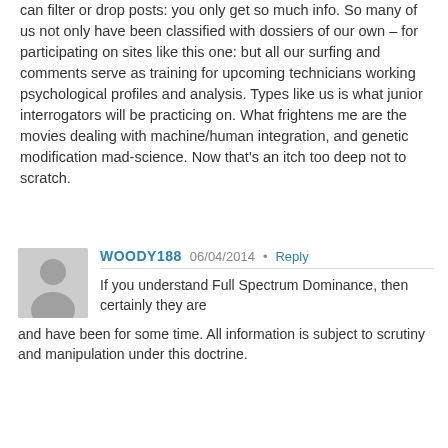can filter or drop posts: you only get so much info. So many of us not only have been classified with dossiers of our own – for participating on sites like this one: but all our surfing and comments serve as training for upcoming technicians working psychological profiles and analysis. Types like us is what junior interrogators will be practicing on. What frightens me are the movies dealing with machine/human integration, and genetic modification mad-science. Now that's an itch too deep not to scratch.
[Figure (illustration): Grey avatar placeholder icon showing a silhouette of a person]
WOODY188   06/04/2014 • Reply
If you understand Full Spectrum Dominance, then certainly they are and have been for some time. All information is subject to scrutiny and manipulation under this doctrine.